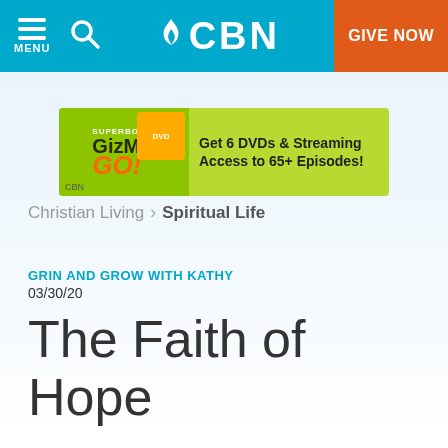CBN — MENU | Search | GIVE NOW
[Figure (screenshot): CBN website header bar with hamburger menu, search icon, CBN flame logo, and orange GIVE NOW button on teal/cyan background]
[Figure (infographic): Gizmo GO! advertisement banner on green background: Get 6 DVDs & Streaming Access to 65+ Episodes!]
Christian Living › Spiritual Life
GRIN AND GROW WITH KATHY
03/30/20
The Faith of Hope
Kathy Carlton Willis